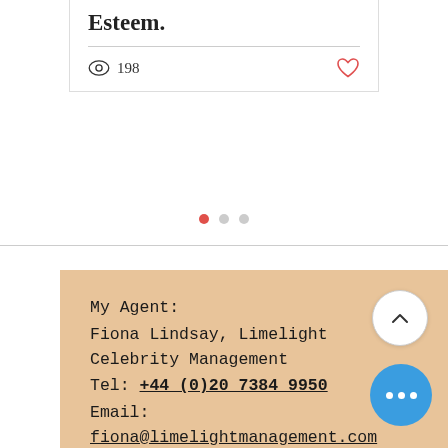Esteem.
198 views
My Agent:
Fiona Lindsay, Limelight Celebrity Management
Tel: +44 (0)20 7384 9950
Email: fiona@limelightmanagement.com